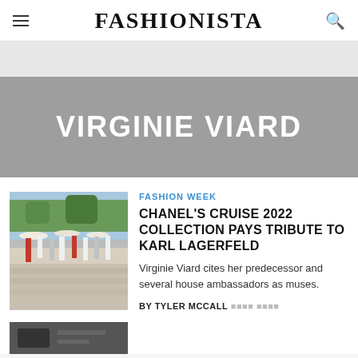FASHIONISTA
VIRGINIE VIARD
[Figure (photo): Fashion show outdoor runway with models walking, trees and umbrellas in background]
FASHION WEEK
CHANEL'S CRUISE 2022 COLLECTION PAYS TRIBUTE TO KARL LAGERFELD
Virginie Viard cites her predecessor and several house ambassadors as muses.
BY TYLER MCCALL
[Figure (photo): Small thumbnail of another article]